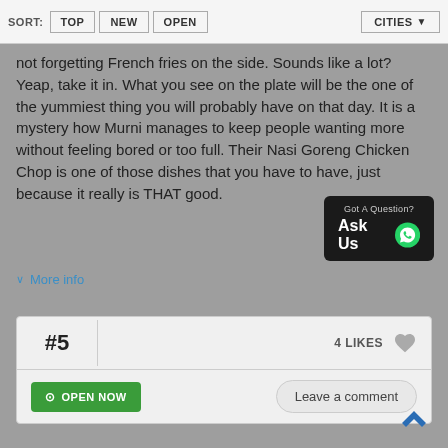SORT: TOP NEW OPEN | CITIES
not forgetting French fries on the side. Sounds like a lot? Yeap, take it in. What you see on the plate will be the one of the yummiest thing you will probably have on that day. It is a mystery how Murni manages to keep people wanting more without feeling bored or too full. Their Nasi Goreng Chicken Chop is one of those dishes that you have to have, just because it really is THAT good.
[Figure (other): WhatsApp 'Got A Question? Ask Us' button]
More info
#5
4 LIKES
OPEN NOW
Leave a comment